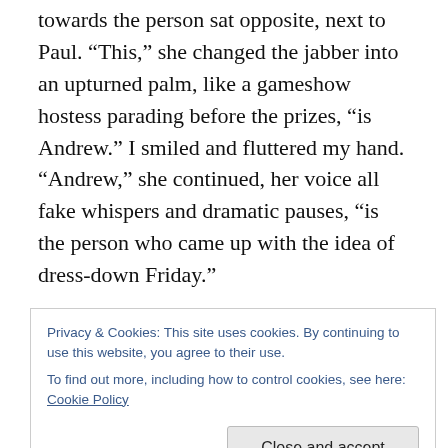towards the person sat opposite, next to Paul. “This,” she changed the jabber into an upturned palm, like a gameshow hostess parading before the prizes, “is Andrew.” I smiled and fluttered my hand. “Andrew,” she continued, her voice all fake whispers and dramatic pauses, “is the person who came up with the idea of dress-down Friday.”
By Thursday, the anticipation was palpable. We were waiting for Andrew to prod in the code on the keypad and let us back into the building after a cheeky ciggy in the
Privacy & Cookies: This site uses cookies. By continuing to use this website, you agree to their use.
To find out more, including how to control cookies, see here: Cookie Policy
Close and accept
Finally, Friday dawned, and I put on the carefully selected